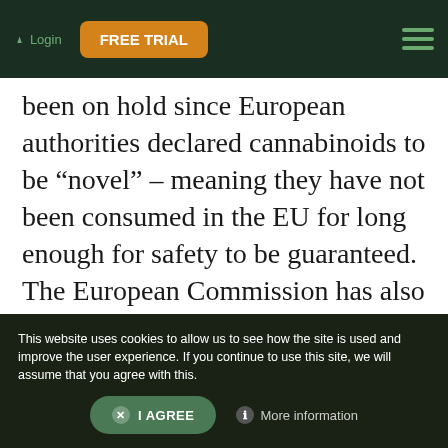Login | FREE TRIAL
been on hold since European authorities declared cannabinoids to be “novel” – meaning they have not been consumed in the EU for long enough for safety to be guaranteed. The European Commission has also begun to wonder if they were a food item at all or if they would better fit under the definition of a narcotic as laid out in international treaties.
This website uses cookies to allow us to see how the site is used and improve the user experience. If you continue to use this site, we will assume that you agree with this. | I AGREE | More information